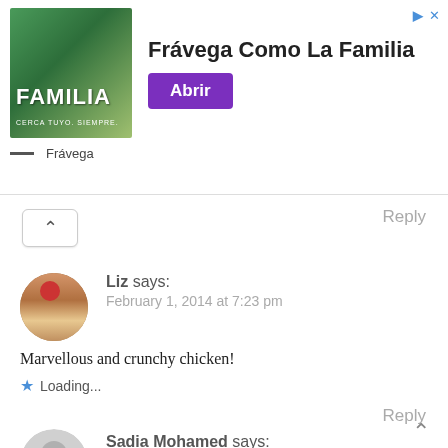[Figure (other): Advertisement banner for Frávega Como La Familia with a sports team photo, large text, and purple 'Abrir' button]
Reply
[Figure (other): Up arrow chevron button]
Liz says:
February 1, 2014 at 7:23 pm
Marvellous and crunchy chicken!
Loading...
Reply
Sadia Mohamed says:
February 3, 2014 at 9:06 am